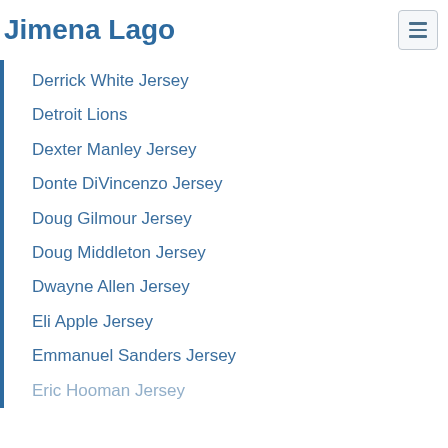Jimena Lago
Derrick White Jersey
Detroit Lions
Dexter Manley Jersey
Donte DiVincenzo Jersey
Doug Gilmour Jersey
Doug Middleton Jersey
Dwayne Allen Jersey
Eli Apple Jersey
Emmanuel Sanders Jersey
Eric Hooman Jersey